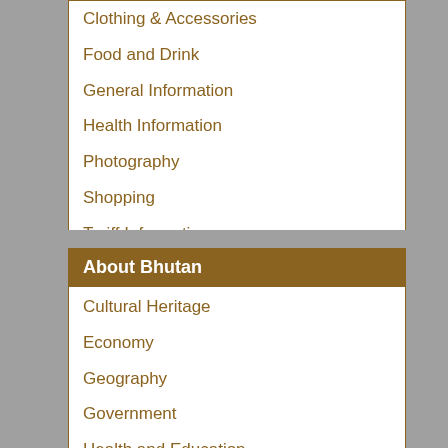Clothing & Accessories
Food and Drink
General Information
Health Information
Photography
Shopping
Tariff Information
Tour Guides
VISA
About Bhutan
Cultural Heritage
Economy
Geography
Government
Health and Education
History
Map
Natural Heritage